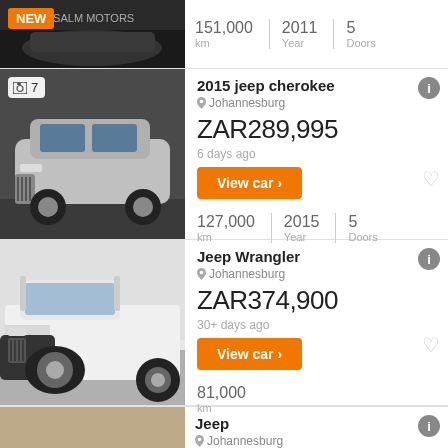[Figure (screenshot): Top partial car listing showing 151,000 km, 2011 Year, 5 Doors with a dark background car image and NEW badge]
[Figure (photo): Silver 2015 Jeep Cherokee front view with photo count badge showing 7]
2015 jeep cherokee
Johannesburg
ZAR289,995
6 days ago
View car >
127,000 km | 2015 Year | 5 Doors
[Figure (photo): White Jeep Wrangler front view]
Jeep Wrangler
Johannesburg
ZAR374,900
30+ days ago
View car >
81,000 km
[Figure (photo): Partial bottom car listing showing Jeep, Johannesburg]
Jeep
Johannesburg